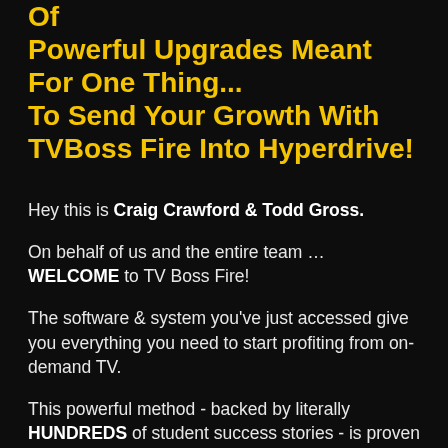Of Powerful Upgrades Meant For One Thing... To Send Your Growth With TVBoss Fire Into Hyperdrive!
Hey this is Craig Crawford & Todd Gross.
On behalf of us and the entire team … WELCOME to TV Boss Fire!
The software & system you've just accessed give you everything you need to start profiting from on-demand TV.
This powerful method - backed by literally HUNDREDS of student success stories - is proven to work … but it's only fair to warn you …